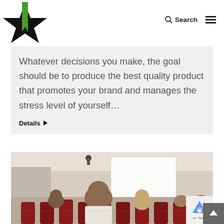[Figure (logo): Black star logo with green bookmark/arrow shape in center, website logo]
Search
Whatever decisions you make, the goal should be to produce the best quality product that promotes your brand and manages the stress level of yourself…
Details ▶
[Figure (photo): Classroom scene viewed from behind, students seated in red chairs facing a presentation screen, lecturer at front]